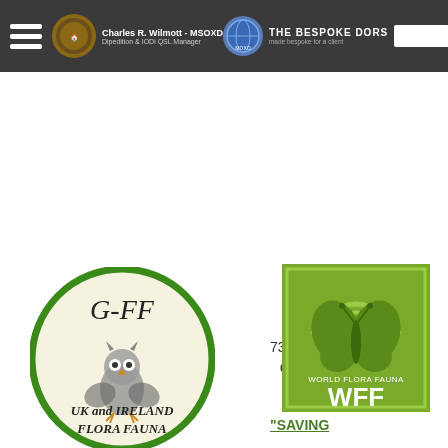Charles R. Wilmott - MSOXD | Dipedition & IODi QSL Manager | THE BESPOKE DORS
[Figure (logo): G-FF UK and Ireland Flora Fauna circular logo with owl illustration, green border on cream background]
73 & 44 de Charles
[Figure (logo): World Flora Fauna WFF square logo with butterfly and rainbow arcs, olive green on green background]
"SAVING THE GREEN PLANET EARTH"